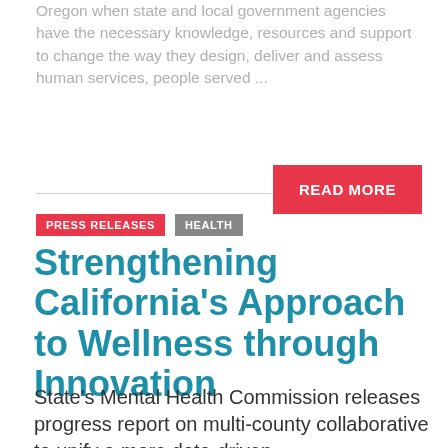Oregon when state and local government agencies have the necessary knowledge, resources and support to change the way they design, deliver and assess human services, people served ...
READ MORE
PRESS RELEASES   HEALTH
Strengthening California's Approach to Wellness through Innovation
State's Mental Health Commission releases progress report on multi-county collaborative to unify a more data-driven